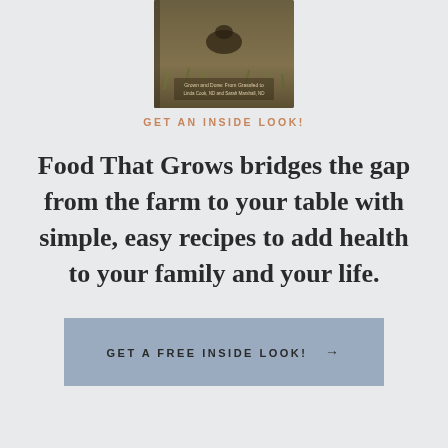[Figure (photo): Partial view of a book cover showing a farm/field scene with text 'Grown and Done: From Grassfed to by Linda Cook, ND and Sarah Marshall, ND']
GET AN INSIDE LOOK!
Food That Grows bridges the gap from the farm to your table with simple, easy recipes to add health to your family and your life.
GET A FREE INSIDE LOOK! →